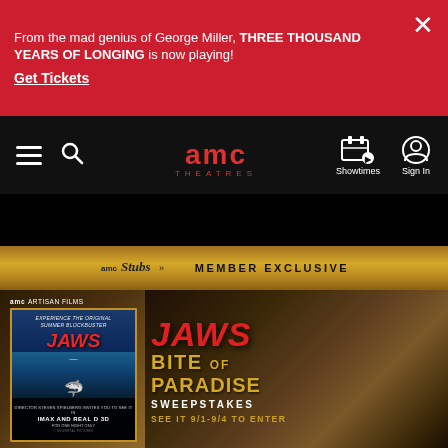From the mad genius of George Miller, THREE THOUSAND YEARS OF LONGING is now playing!
Get Tickets
[Figure (screenshot): AMC Theatres navigation bar with hamburger menu, search icon, AMC Theatres logo, Showtimes icon, and Sign In icon on dark background]
[Figure (infographic): AMC Stubs Member Exclusive promotional banner featuring Jaws movie poster on left with 'AMC ARTISAN FILMS' header, 'EXPERIENCE THE ORIGINAL SUMMER BLOCKBUSTER', 'JAWS' title in red, IMAX and REAL D 3D text. Right side shows 'JAWS BITE OF PARADISE SWEEPSTAKES SEE IT 9/1-9/4 TO ENTER' in gold and red text on dark gold gradient background.]